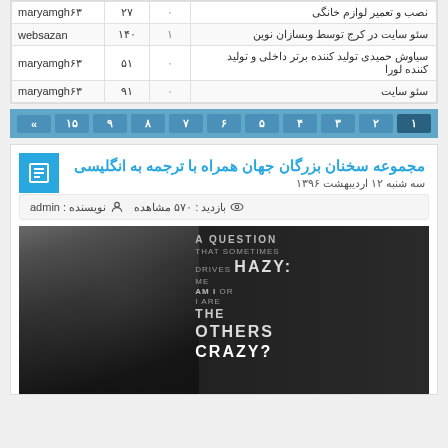| نام کاربر | تعداد بازدید | پاسخ | موضوع |
| --- | --- | --- | --- |
| maryamgh۶۳ | ۲۷ | ۰ | نصب و تعمیر لوازم خانگی |
| websazan | ۱۴۰ | ۱ | سئو سایت در کرج توسط وبسازان نوین |
| maryamgh۶۳ | ۵۱ | ۰ | سیاوش حمیدی تولید کننده برتر داخلی و تولید کننده لورا |
| maryamgh۶۳ | ۹۱ | ۰ | سئو سایت |
صفحه‌بندی: « ۱۵ ۹ ۸ ۷ ۶ ۵ ۴ ۳ ۲ ۱
مجموعه سخنان بزرگان جهان همراه با ترجمه به انگلیسی
سه شنبه ۱۲ اردیبهشت ۱۳۹۶
نویسنده : admin   بازدید : ۵۷۰ مشاهده
[Figure (photo): Black and white photo of Einstein with quote text overlay: A QUESTION THAT SOMETIMES DRIVES ME HAZY: AM I OR ARE THE OTHERS CRAZY?]